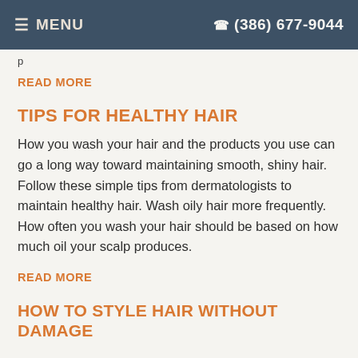MENU   (386) 677-9044
p
READ MORE
TIPS FOR HEALTHY HAIR
How you wash your hair and the products you use can go a long way toward maintaining smooth, shiny hair. Follow these simple tips from dermatologists to maintain healthy hair. Wash oily hair more frequently. How often you wash your hair should be based on how much oil your scalp produces.
READ MORE
HOW TO STYLE HAIR WITHOUT DAMAGE